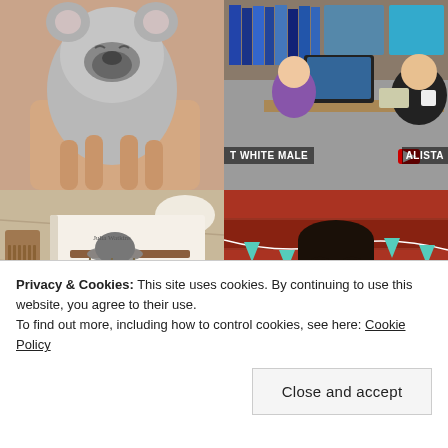[Figure (photo): A small baby koala being held in a human hand, eyes closed, fluffy grey fur]
[Figure (screenshot): Screenshot of a YouTube video showing two men in an office, text overlay reads 'WHITE MALE' and 'ALISTA', with YouTube logo]
[Figure (photo): A book by Julia Watkins titled 'simply' on a wooden table with a hat and dried herbs hanging on a rack on the cover]
[Figure (photo): A smiling young man standing in front of a red barn wall with teal leaf bunting decorations]
Privacy & Cookies: This site uses cookies. By continuing to use this website, you agree to their use. To find out more, including how to control cookies, see here: Cookie Policy
Close and accept